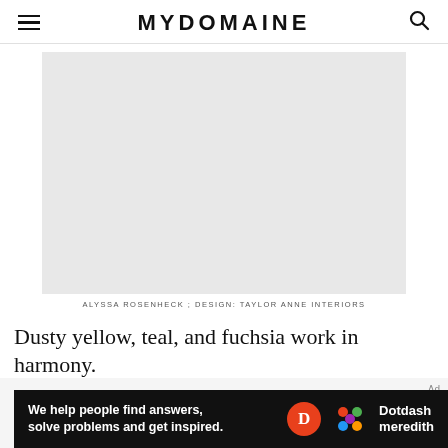MYDOMAINE
[Figure (photo): Placeholder image area (light gray rectangle) for an interior design photo]
ALYSSA ROSENHECK ; DESIGN: TAYLOR ANNE INTERIORS
Dusty yellow, teal, and fuchsia work in harmony.
[Figure (other): Advertisement banner: 'We help people find answers, solve problems and get inspired.' with Dotdash Meredith branding]